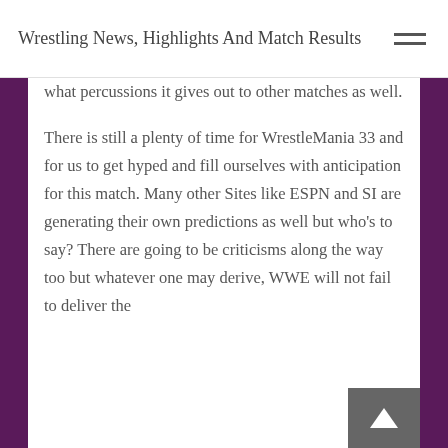Wrestling News, Highlights And Match Results
what percussions it gives out to other matches as well.
There is still a plenty of time for WrestleMania 33 and for us to get hyped and fill ourselves with anticipation for this match. Many other Sites like ESPN and SI are generating their own predictions as well but who's to say? There are going to be criticisms along the way too but whatever one may derive, WWE will not fail to deliver the